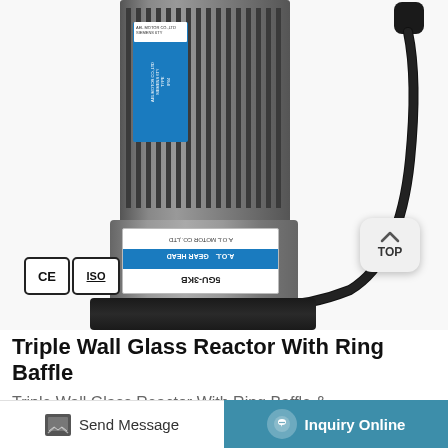[Figure (photo): Close-up photo of a gear motor assembly (SGU-3KB model) with CE and ISO certification badges visible. The motor has a ribbed metal body with a blue label, a gearbox below labeled 'A.O.L GEAR HEAD', and a black cable. A 'TOP' navigation button is visible on the right side.]
Triple Wall Glass Reactor With Ring Baffle
Triple Wall Glass Reactor With Ring Baffle &
Send Message
Inquiry Online